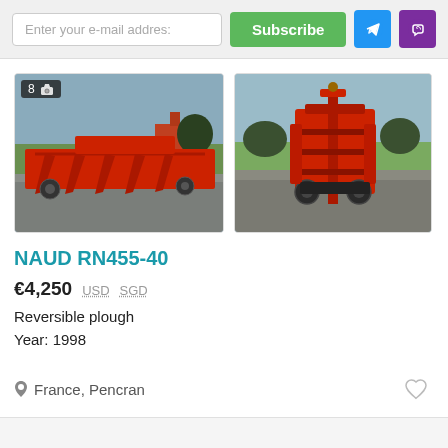Enter your e-mail addres: | Subscribe | [Telegram] [Viber]
[Figure (photo): Red reversible plough photographed outdoors on a paved area, side view showing multiple furrow bodies. Badge showing '8' and camera icon.]
[Figure (photo): Red reversible plough photographed outdoors, rear/angled view showing the frame and furrow bodies folded up.]
NAUD RN455-40
€4,250  USD  SGD
Reversible plough
Year:  1998
France, Pencran